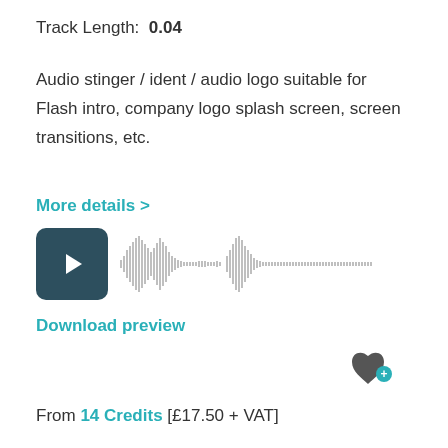Track Length:  0.04
Audio stinger / ident / audio logo suitable for Flash intro, company logo splash screen, screen transitions, etc.
More details >
[Figure (other): Audio player with dark teal play button and waveform visualization]
Download preview
License & Download
From 14 Credits [£17.50 + VAT]
Christmas Intro